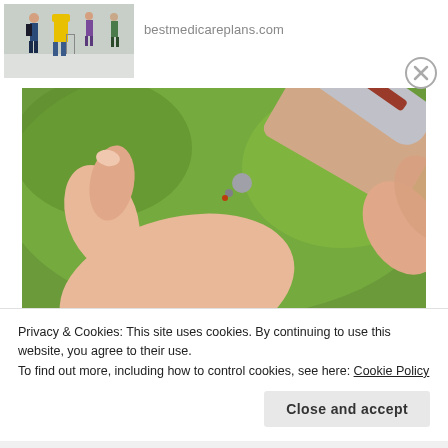[Figure (photo): Group of elderly people walking in a hospital corridor, one in a yellow jacket with a walker]
bestmedicareplans.com
[Figure (photo): Close-up of a hand with a finger being pricked by a blood glucose lancet device, green background]
Privacy & Cookies: This site uses cookies. By continuing to use this website, you agree to their use.
To find out more, including how to control cookies, see here: Cookie Policy
Close and accept